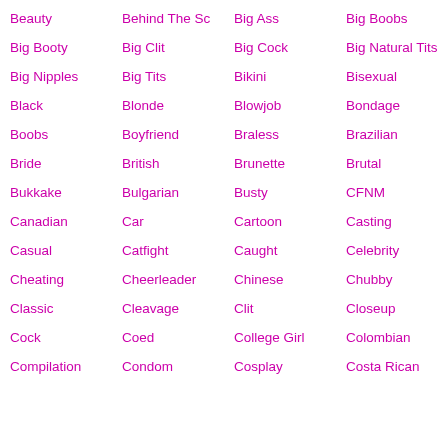Beauty
Behind The Sc
Big Ass
Big Boobs
Big Booty
Big Clit
Big Cock
Big Natural Tits
Big Nipples
Big Tits
Bikini
Bisexual
Black
Blonde
Blowjob
Bondage
Boobs
Boyfriend
Braless
Brazilian
Bride
British
Brunette
Brutal
Bukkake
Bulgarian
Busty
CFNM
Canadian
Car
Cartoon
Casting
Casual
Catfight
Caught
Celebrity
Cheating
Cheerleader
Chinese
Chubby
Classic
Cleavage
Clit
Closeup
Cock
Coed
College Girl
Colombian
Compilation
Condom
Cosplay
Costa Rican